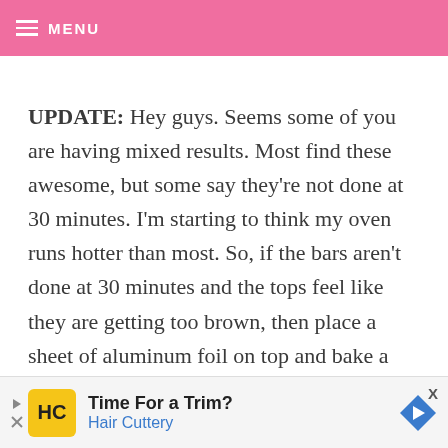≡ MENU
UPDATE: Hey guys. Seems some of you are having mixed results. Most find these awesome, but some say they're not done at 30 minutes. I'm starting to think my oven runs hotter than most. So, if the bars aren't done at 30 minutes and the tops feel like they are getting too brown, then place a sheet of aluminum foil on top and bake a little longer. Use a toothpick to insert and check for doneness before removing from the oven. Also make sure you sifted the dry ingredients and used room temp butter, no
[Figure (other): Advertisement banner for Hair Cuttery showing logo, 'Time For a Trim?' text, and a navigation arrow icon]